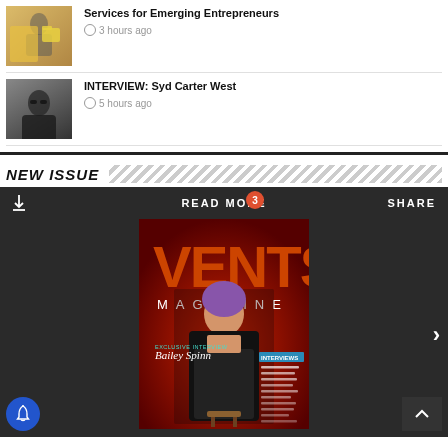[Figure (photo): Thumbnail image of a person with a yellow folder at a desk]
Services for Emerging Entrepreneurs
3 hours ago
[Figure (photo): Thumbnail image of a person in black clothing outdoors]
INTERVIEW: Syd Carter West
5 hours ago
NEW ISSUE
[Figure (screenshot): Magazine viewer showing VENTS Magazine cover featuring Bailey Spinn with red background and interview list]